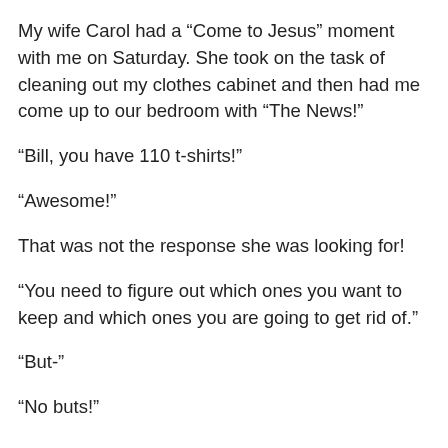My wife Carol had a “Come to Jesus” moment with me on Saturday. She took on the task of cleaning out my clothes cabinet and then had me come up to our bedroom with “The News!”
“Bill, you have 110 t-shirts!”
“Awesome!”
That was not the response she was looking for!
“You need to figure out which ones you want to keep and which ones you are going to get rid of.”
“But-”
“No buts!”